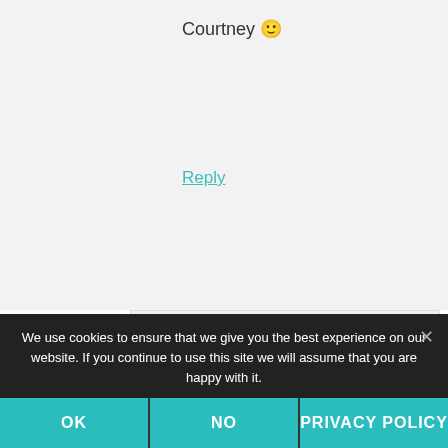Courtney 🙂
Reply
Tricia Goyer says
July 17, 2013 at 9:36 am
[Figure (photo): Headshot of Tricia Goyer, a woman with dark hair, smiling, wearing dark clothing, with a blurred outdoor background]
We use cookies to ensure that we give you the best experience on our website. If you continue to use this site we will assume that you are happy with it.
OK
NO
PRIVACY POLICY